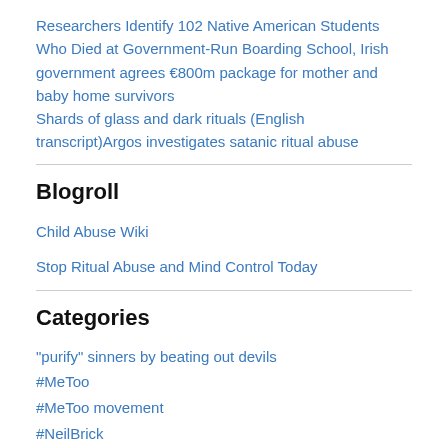Researchers Identify 102 Native American Students Who Died at Government-Run Boarding School, Irish government agrees €800m package for mother and baby home survivors
Shards of glass and dark rituals (English transcript)Argos investigates satanic ritual abuse
Blogroll
Child Abuse Wiki
Stop Ritual Abuse and Mind Control Today
Categories
"purify" sinners by beating out devils
#MeToo
#MeToo movement
#NeilBrick
#Neil_Brick